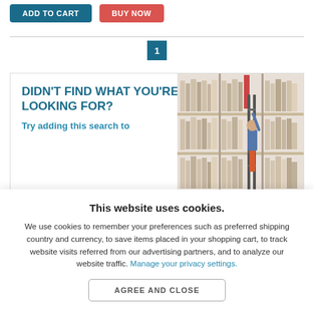[Figure (screenshot): ADD TO CART and BUY NOW buttons at top of page]
1
[Figure (illustration): Card with heading DIDN'T FIND WHAT YOU'RE LOOKING FOR? and subtext 'Try adding this search to' alongside an illustration of a person on a ladder reaching for books on a library shelf]
This website uses cookies.
We use cookies to remember your preferences such as preferred shipping country and currency, to save items placed in your shopping cart, to track website visits referred from our advertising partners, and to analyze our website traffic. Manage your privacy settings.
AGREE AND CLOSE